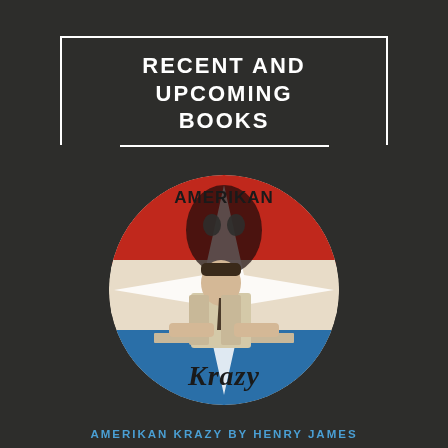RECENT AND UPCOMING BOOKS
[Figure (illustration): Circular book cover for 'Amerikan Krazy' featuring a man in a suit seated at a desk, overlaid with a red, white, and blue geometric star/flag design, with the words 'AMERIKAN' at top and 'Krazy' in graffiti-style lettering at bottom]
AMERIKAN KRAZY BY HENRY JAMES